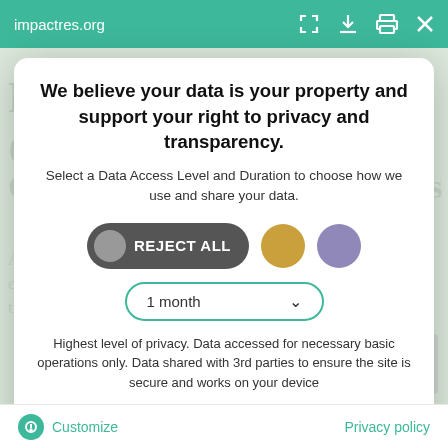impactres.org
We believe your data is your property and support your right to privacy and transparency.
Select a Data Access Level and Duration to choose how we use and share your data.
REJECT ALL
1 month
Highest level of privacy. Data accessed for necessary basic operations only. Data shared with 3rd parties to ensure the site is secure and works on your device
Save my preferences
Customize
Privacy policy